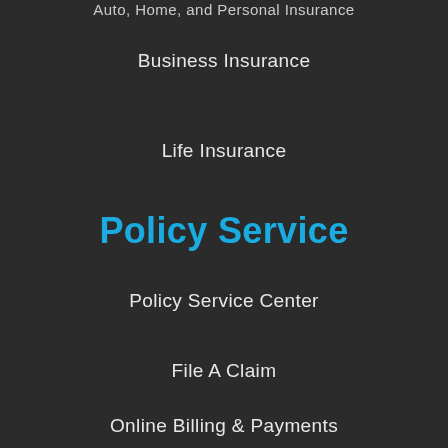Auto, Home, and Personal Insurance
Business Insurance
Life Insurance
Policy Service
Policy Service Center
File A Claim
Online Billing & Payments